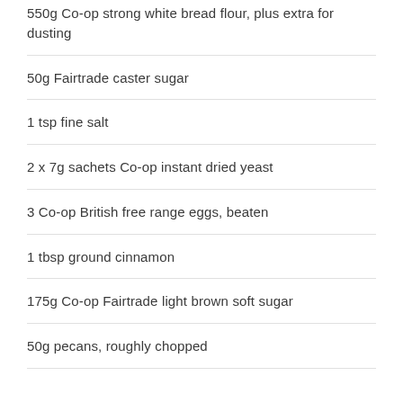550g Co-op strong white bread flour, plus extra for dusting
50g Fairtrade caster sugar
1 tsp fine salt
2 x 7g sachets Co-op instant dried yeast
3 Co-op British free range eggs, beaten
1 tbsp ground cinnamon
175g Co-op Fairtrade light brown soft sugar
50g pecans, roughly chopped